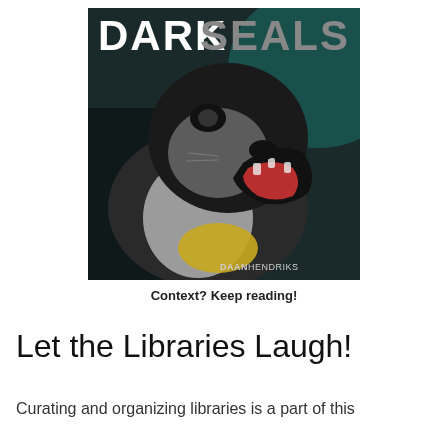[Figure (illustration): Album cover for 'Dark Seals' by Daan Hendriks. Dark artistic image of a roaring seal with mouth wide open, showing teeth and red tongue, with yellow patches on its body. Black and white high-contrast style with teal/dark background. Text 'DARKSEALS' at the top in large letters (DARK in white, SEALS in gray). 'DAAN HENDRIKS' branding in the lower right corner.]
Context? Keep reading!
Let the Libraries Laugh!
Curating and organizing libraries is a part of this